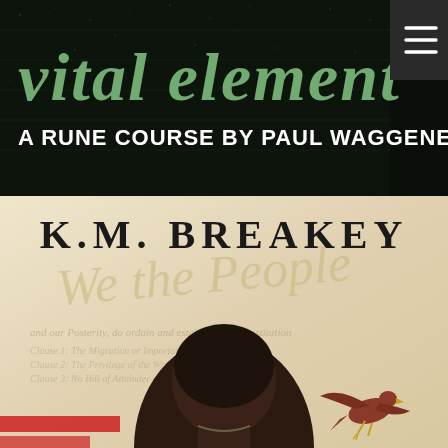[Figure (illustration): Top banner image: 'vital element' in green gothic/grunge lettering on dark starry background, with subtitle 'A RUNE COURSE BY PAUL WAGGENER' in white block letters. A hamburger menu icon appears in top right corner on dark grey background.]
[Figure (illustration): Book cover for K.M. Breakey. Large serif lettering 'K.M. BREAKEY' at top on cream/parchment background. Below shows back of a man's head looking at a 'We the People' Constitution document. A red/brown eagle flies in lower right. Red stripes visible at lower left.]